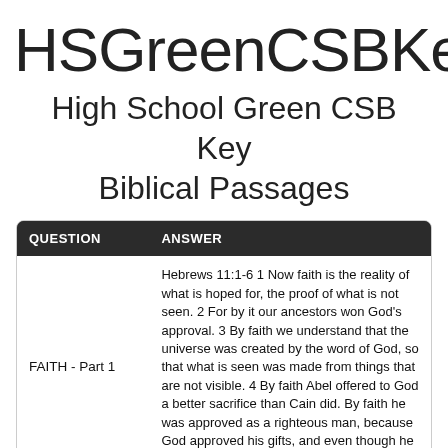HSGreenCSBKeyBP
High School Green CSB Key Biblical Passages
| QUESTION | ANSWER |
| --- | --- |
| FAITH - Part 1 | Hebrews 11:1-6 1 Now faith is the reality of what is hoped for, the proof of what is not seen. 2 For by it our ancestors won God's approval. 3 By faith we understand that the universe was created by the word of God, so that what is seen was made from things that are not visible. 4 By faith Abel offered to God a better sacrifice than Cain did. By faith he was approved as a righteous man, because God approved his gifts, and even though he is dead, he still speaks through his faith. |
|  | Hebrews 11:1-6 5 By faith Enoch was taken away, and so he did not experience death. He ... |